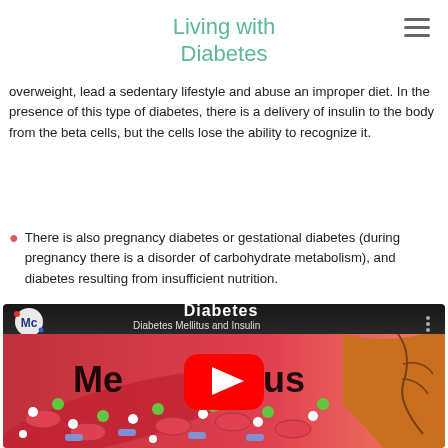Living with Diabetes
overweight, lead a sedentary lifestyle and abuse an improper diet. In the presence of this type of diabetes, there is a delivery of insulin to the body from the beta cells, but the cells lose the ability to recognize it.
There is also pregnancy diabetes or gestational diabetes (during pregnancy there is a disorder of carbohydrate metabolism), and diabetes resulting from insufficient nutrition.
[Figure (screenshot): YouTube video thumbnail showing 'Diabetes Mellitus and Insulin' with colorful illustration of blood cells and the YouTube play button overlay. Title text 'Diabetes' visible at top and 'Mellitus' text behind the play button.]